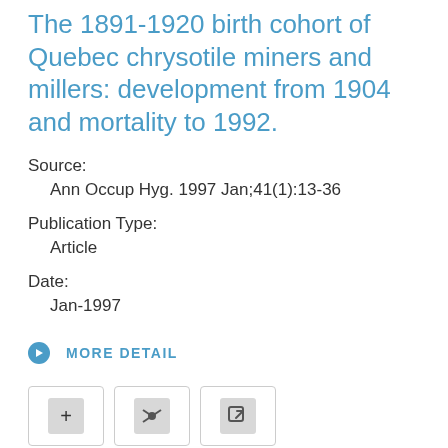The 1891-1920 birth cohort of Quebec chrysotile miners and millers: development from 1904 and mortality to 1992.
Source:
Ann Occup Hyg. 1997 Jan;41(1):13-36
Publication Type:
Article
Date:
Jan-1997
MORE DETAIL
Air pollution and asbestos